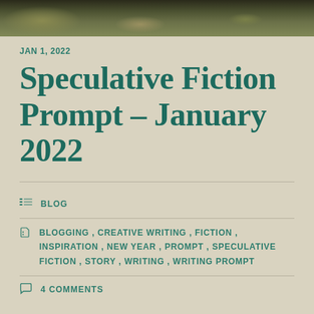[Figure (photo): Landscape photo showing vegetation and rocky terrain, cropped at top of page]
JAN 1, 2022
Speculative Fiction Prompt – January 2022
BLOG
BLOGGING , CREATIVE WRITING , FICTION , INSPIRATION , NEW YEAR , PROMPT , SPECULATIVE FICTION , STORY , WRITING , WRITING PROMPT
4 COMMENTS